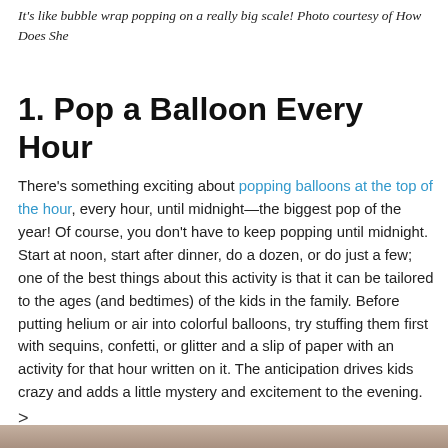It's like bubble wrap popping on a really big scale! Photo courtesy of How Does She
1. Pop a Balloon Every Hour
There's something exciting about popping balloons at the top of the hour, every hour, until midnight—the biggest pop of the year! Of course, you don't have to keep popping until midnight. Start at noon, start after dinner, do a dozen, or do just a few; one of the best things about this activity is that it can be tailored to the ages (and bedtimes) of the kids in the family. Before putting helium or air into colorful balloons, try stuffing them first with sequins, confetti, or glitter and a slip of paper with an activity for that hour written on it. The anticipation drives kids crazy and adds a little mystery and excitement to the evening.
>
[Figure (photo): Bottom strip showing a photo of a person, partially visible]